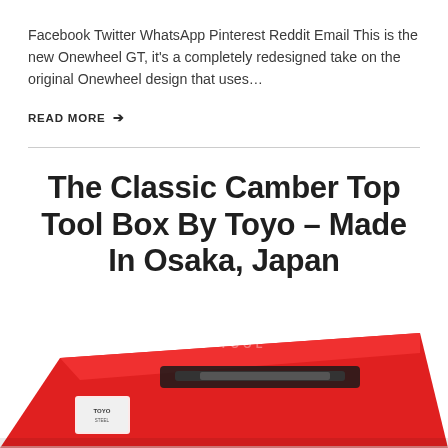Facebook Twitter WhatsApp Pinterest Reddit Email This is the new Onewheel GT, it's a completely redesigned take on the original Onewheel design that uses...
READ MORE →
The Classic Camber Top Tool Box By Toyo – Made In Osaka, Japan
[Figure (photo): Partially cropped photo of a red Toyo toolbox with handle visible, angled view showing the top and front of the red metal tool box]